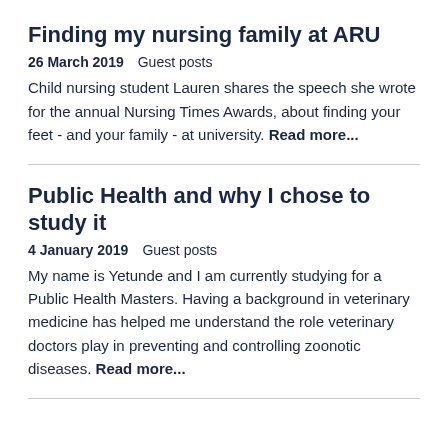Finding my nursing family at ARU
26 March 2019   Guest posts
Child nursing student Lauren shares the speech she wrote for the annual Nursing Times Awards, about finding your feet - and your family - at university. Read more...
Public Health and why I chose to study it
4 January 2019   Guest posts
My name is Yetunde and I am currently studying for a Public Health Masters. Having a background in veterinary medicine has helped me understand the role veterinary doctors play in preventing and controlling zoonotic diseases. Read more...